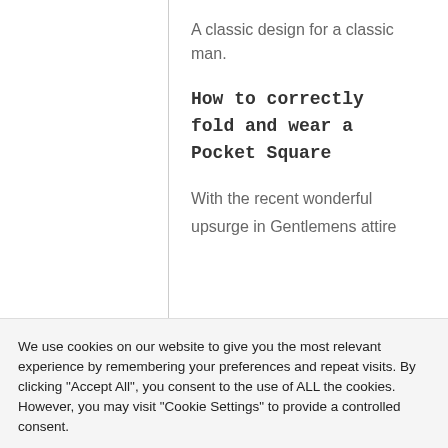A classic design for a classic man.
How to correctly fold and wear a Pocket Square
With the recent wonderful
upsurge in Gentlemens attire
We use cookies on our website to give you the most relevant experience by remembering your preferences and repeat visits. By clicking "Accept All", you consent to the use of ALL the cookies. However, you may visit "Cookie Settings" to provide a controlled consent.